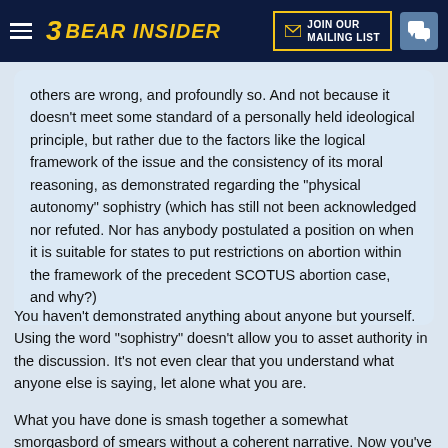Bear Insider — Join Our Mailing List
others are wrong, and profoundly so. And not because it doesn't meet some standard of a personally held ideological principle, but rather due to the factors like the logical framework of the issue and the consistency of its moral reasoning, as demonstrated regarding the "physical autonomy" sophistry (which has still not been acknowledged nor refuted. Nor has anybody postulated a position on when it is suitable for states to put restrictions on abortion within the framework of the precedent SCOTUS abortion case, and why?)
You haven't demonstrated anything about anyone but yourself. Using the word "sophistry" doesn't allow you to asset authority in the discussion. It's not even clear that you understand what anyone else is saying, let alone what you are.
What you have done is smash together a somewhat smorgasbord of smears without a coherent narrative. Now you've declared that for success we need to identify restrictions consistent with the framework of SCOTUS which is a new ask. The antecedent for this discussion is the supposition that the makeup of the Supreme Court will moot